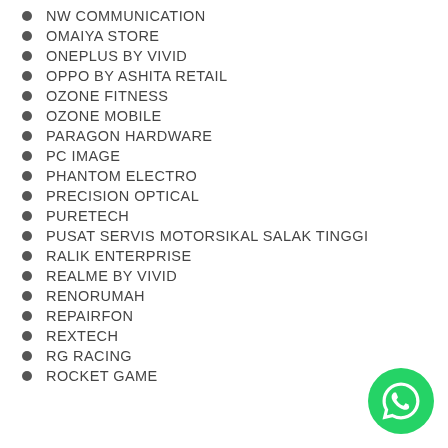NW COMMUNICATION
OMAIYA STORE
ONEPLUS BY VIVID
OPPO BY ASHITA RETAIL
OZONE FITNESS
OZONE MOBILE
PARAGON HARDWARE
PC IMAGE
PHANTOM ELECTRO
PRECISION OPTICAL
PURETECH
PUSAT SERVIS MOTORSIKAL SALAK TINGGI
RALIK ENTERPRISE
REALME BY VIVID
RENORUMAH
REPAIRFON
REXTECH
RG RACING
ROCKET GAME